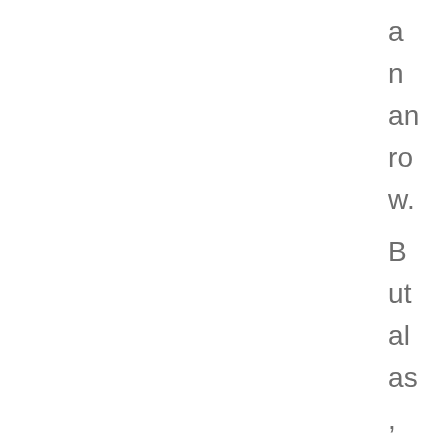a
n
an
ro
w.
B
ut
al
as
,
w
oe
,
w